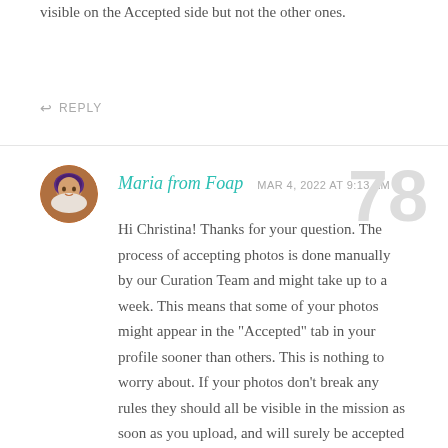visible on the Accepted side but not the other ones.
REPLY
Maria from Foap  MAR 4, 2022 AT 9:13 AM
Hi Christina! Thanks for your question. The process of accepting photos is done manually by our Curation Team and might take up to a week. This means that some of your photos might appear in the "Accepted" tab in your profile sooner than others. This is nothing to worry about. If your photos don't break any rules they should all be visible in the mission as soon as you upload, and will surely be accepted in the upcoming days. I hope this helps 🙂